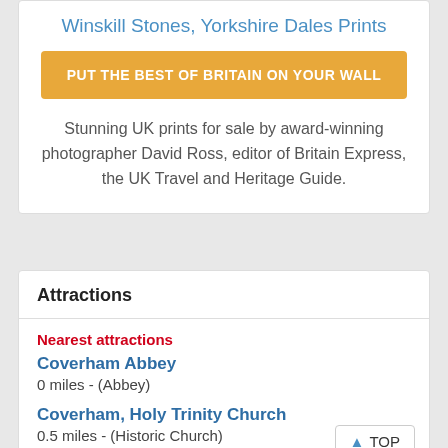Winskill Stones, Yorkshire Dales Prints
PUT THE BEST OF BRITAIN ON YOUR WALL
Stunning UK prints for sale by award-winning photographer David Ross, editor of Britain Express, the UK Travel and Heritage Guide.
Attractions
Nearest attractions
Coverham Abbey
0 miles - (Abbey)
Coverham, Holy Trinity Church
0.5 miles - (Historic Church)